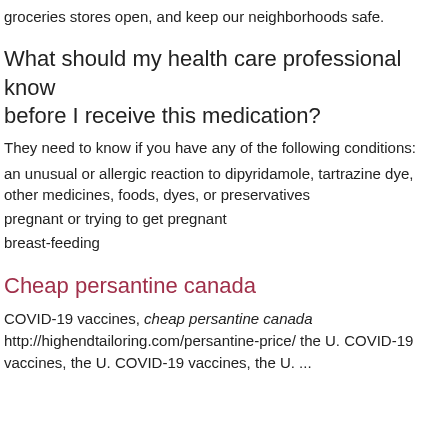groceries stores open, and keep our neighborhoods safe.
What should my health care professional know before I receive this medication?
They need to know if you have any of the following conditions:
an unusual or allergic reaction to dipyridamole, tartrazine dye, other medicines, foods, dyes, or preservatives
pregnant or trying to get pregnant
breast-feeding
Cheap persantine canada
COVID-19 vaccines, cheap persantine canada http://highendtailoring.com/persantine-price/ the U. COVID-19 vaccines, the U. COVID-19 vaccines, the U. ...